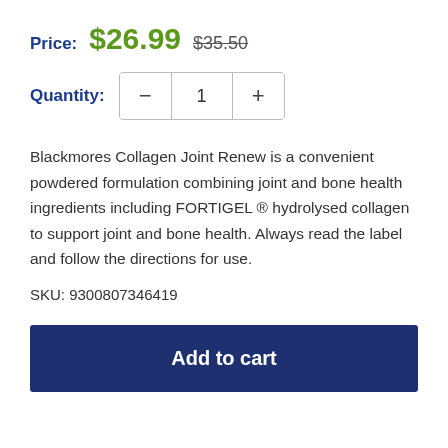Price: $26.99 $35.50
Quantity: 1
Blackmores Collagen Joint Renew is a convenient powdered formulation combining joint and bone health ingredients including FORTIGEL ® hydrolysed collagen to support joint and bone health. Always read the label and follow the directions for use.
SKU: 9300807346419
Add to cart